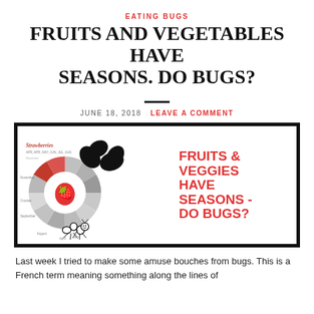EATING BUGS
FRUITS AND VEGETABLES HAVE SEASONS. DO BUGS?
JUNE 18, 2018  LEAVE A COMMENT
[Figure (infographic): Infographic showing a seasonal wheel chart for strawberries on the left with a large bug silhouette overlay, and on the right bold red text reading 'FRUITS & VEGGIES HAVE SEASONS - DO BUGS?' alongside an illustrated ant.]
Last week I tried to make some amuse bouches from bugs. This is a French term meaning something along the lines of